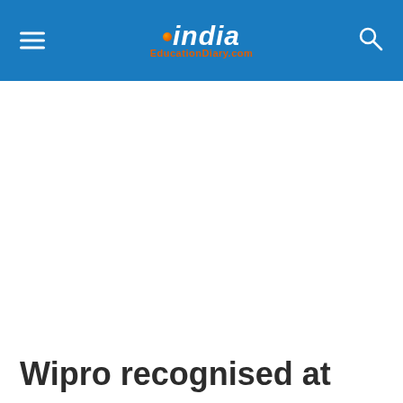India EducationDiary.com
Wipro recognised at